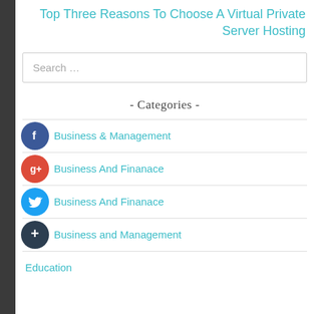Top Three Reasons To Choose A Virtual Private Server Hosting
Search …
- Categories -
Business & Management
Business And Finanace
Business and Management
Education